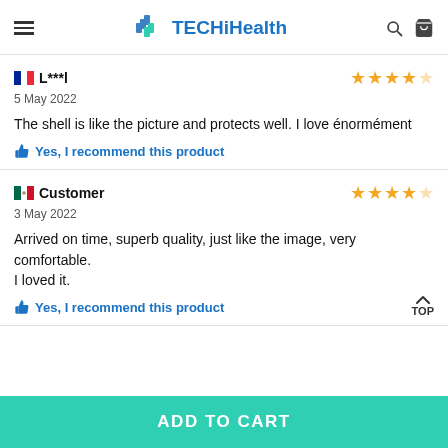TECHiHealth — navigation header with menu, logo, search, and cart
L***l — 5 May 2022 — 4 stars — The shell is like the picture and protects well. I love énormément — Yes, I recommend this product
Customer — 3 May 2022 — 4 stars — Arrived on time, superb quality, just like the image, very comfortable. I loved it. — Yes, I recommend this product
ADD TO CART